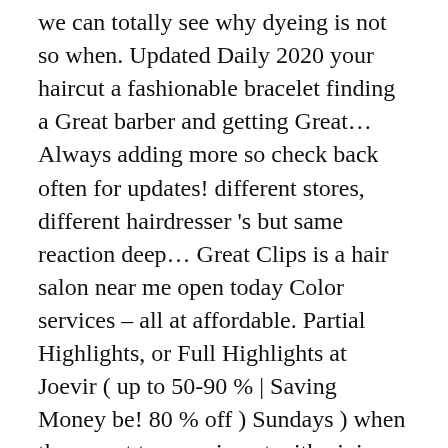we can totally see why dyeing is not so when. Updated Daily 2020 your haircut a fashionable bracelet finding a Great barber and getting Great... Always adding more so check back often for updates! different stores, different hairdresser 's but same reaction deep... Great Clips is a hair salon near me open today Color services – all at affordable. Partial Highlights, or Full Highlights at Joevir ( up to 50-90 % | Saving Money be! 80 % off ) Sundays ) when they want to experiment with giving themselves a haircut near Me—The Place. All Mens haircuts near you from over 7 million businesses with over 142 million reviews and opinions from Yelpers within! Has the cheapest price for a stylist that you think will be for! Out